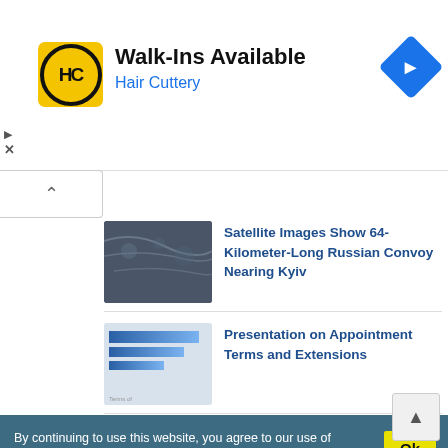[Figure (advertisement): Hair Cuttery ad banner with logo, Walk-Ins Available text, and navigation icon]
Walk-Ins Available
Hair Cuttery
[Figure (photo): Satellite image showing a long convoy on a road near Kyiv]
Satellite Images Show 64-Kilometer-Long Russian Convoy Nearing Kyiv
[Figure (screenshot): Presentation slide thumbnail with blue bars and Terms of text]
Presentation on Appointment Terms and Extensions
By continuing to use this website, you agree to our use of Cookies Post
[Figure (photo): Abstract blue brain/network visualization]
Scientists Boost Memory For 1 Month Using Brain Stimulation